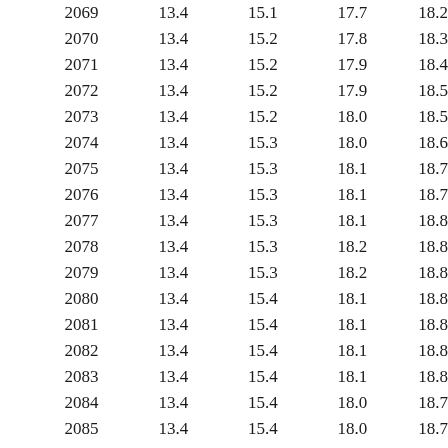| 2069 | 13.4 | 15.1 | 17.7 | 18.2 |
| 2070 | 13.4 | 15.2 | 17.8 | 18.3 |
| 2071 | 13.4 | 15.2 | 17.9 | 18.4 |
| 2072 | 13.4 | 15.2 | 17.9 | 18.5 |
| 2073 | 13.4 | 15.2 | 18.0 | 18.5 |
| 2074 | 13.4 | 15.3 | 18.0 | 18.6 |
| 2075 | 13.4 | 15.3 | 18.1 | 18.7 |
| 2076 | 13.4 | 15.3 | 18.1 | 18.7 |
| 2077 | 13.4 | 15.3 | 18.1 | 18.8 |
| 2078 | 13.4 | 15.3 | 18.2 | 18.8 |
| 2079 | 13.4 | 15.3 | 18.2 | 18.8 |
| 2080 | 13.4 | 15.4 | 18.1 | 18.8 |
| 2081 | 13.4 | 15.4 | 18.1 | 18.8 |
| 2082 | 13.4 | 15.4 | 18.1 | 18.8 |
| 2083 | 13.4 | 15.4 | 18.1 | 18.8 |
| 2084 | 13.4 | 15.4 | 18.0 | 18.7 |
| 2085 | 13.4 | 15.4 | 18.0 | 18.7 |
| 2086 | 13.4 | 15.4 | 18.0 | 18.7 |
| 2087 | 13.4 | 15.4 | 17.9 | 18.7 |
| 2088 | 13.4 | 15.5 | 17.9 | 18.6 |
| 2089 | 13.4 | 15.5 | 17.9 | 18.6 |